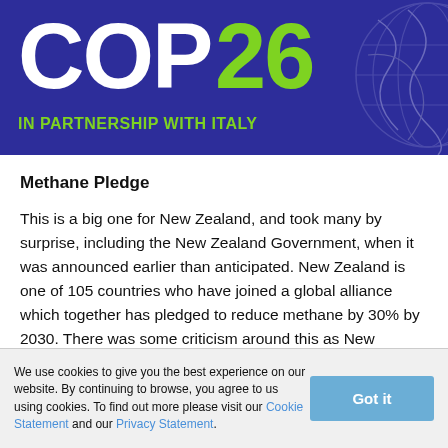[Figure (illustration): COP26 banner with dark blue background showing partial text 'COP' in white and '26' in lime green, subtitle 'IN PARTNERSHIP WITH ITALY' in lime green, and a decorative globe illustration on the right side]
Methane Pledge
This is a big one for New Zealand, and took many by surprise, including the New Zealand Government, when it was announced earlier than anticipated. New Zealand is one of 105 countries who have joined a global alliance which together has pledged to reduce methane by 30% by 2030. There was some criticism around this as New Zealand has a target of 10% methane reduction.
We use cookies to give you the best experience on our website. By continuing to browse, you agree to us using cookies. To find out more please visit our Cookie Statement and our Privacy Statement.